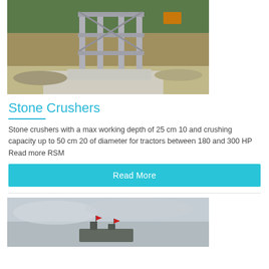[Figure (photo): Construction site photo showing a steel frame structure/stone crusher foundation on a concrete pad, with debris, gravel and excavation equipment visible in the background]
Stone Crushers
Stone crushers with a max working depth of 25 cm 10 and crushing capacity up to 50 cm 20 of diameter for tractors between 180 and 300 HP Read more RSM
Read More
[Figure (photo): Overcast sky photo showing machinery/equipment with small red flags visible, partially cut off at the bottom of the page]